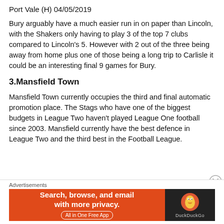Port Vale (H) 04/05/2019
Bury arguably have a much easier run in on paper than Lincoln, with the Shakers only having to play 3 of the top 7 clubs compared to Lincoln's 5. However with 2 out of the three being away from home plus one of those being a long trip to Carlisle it could be an interesting final 9 games for Bury.
3.Mansfield Town
Mansfield Town currently occupies the third and final automatic promotion place. The Stags who have one of the biggest budgets in League Two haven't played League One football since 2003. Mansfield currently have the best defence in League Two and the third best in the Football League.
Advertisements
[Figure (infographic): DuckDuckGo advertisement banner: orange left panel with text 'Search, browse, and email with more privacy.' and 'All in One Free App' button; dark right panel with DuckDuckGo logo and name.]